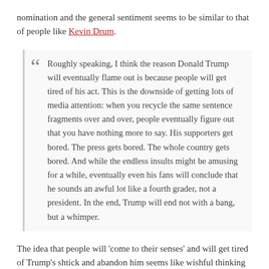nomination and the general sentiment seems to be similar to that of people like Kevin Drum.
Roughly speaking, I think the reason Donald Trump will eventually flame out is because people will get tired of his act. This is the downside of getting lots of media attention: when you recycle the same sentence fragments over and over, people eventually figure out that you have nothing more to say. His supporters get bored. The press gets bored. The whole country gets bored. And while the endless insults might be amusing for a while, eventually even his fans will conclude that he sounds an awful lot like a fourth grader, not a president. In the end, Trump will end not with a bang, but a whimper.
The idea that people will 'come to their senses' and will get tired of Trump's shtick and abandon him seems like wishful thinking to me.